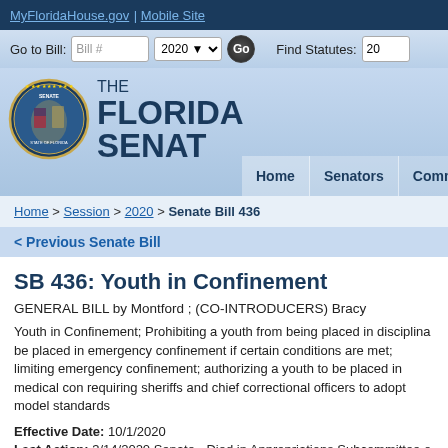MyFloridaHouse.gov | Mobile Site
[Figure (screenshot): Florida Senate website navigation bar with Go to Bill search (Bill #, 2020 dropdown, Go button) and Find Statutes field]
[Figure (logo): The Florida Senate seal/logo with circular state of Florida emblem]
THE FLORIDA SENATE
[Figure (screenshot): Navigation tabs: Home | Senators | Committees]
Home > Session > 2020 > Senate Bill 436
< Previous Senate Bill
SB 436: Youth in Confinement
GENERAL BILL by Montford ; (CO-INTRODUCERS) Bracy
Youth in Confinement; Prohibiting a youth from being placed in disciplinary confinement; allowing a youth to be placed in emergency confinement if certain conditions are met; limiting the duration of emergency confinement; authorizing a youth to be placed in medical confinement under certain circumstances; requiring sheriffs and chief correctional officers to adopt model standards.
Effective Date: 10/1/2020
Last Action: 3/14/2020 Senate - Died in Appropriations Subcommittee o